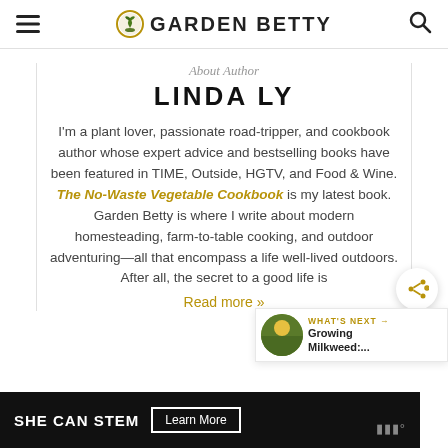GARDEN BETTY
About Author
LINDA LY
I'm a plant lover, passionate road-tripper, and cookbook author whose expert advice and bestselling books have been featured in TIME, Outside, HGTV, and Food & Wine. The No-Waste Vegetable Cookbook is my latest book. Garden Betty is where I write about modern homesteading, farm-to-table cooking, and outdoor adventuring—all that encompass a life well-lived outdoors. After all, the secret to a good life is...
Read more »
WHAT'S NEXT → Growing Milkweed:...
SHE CAN STEM  Learn More